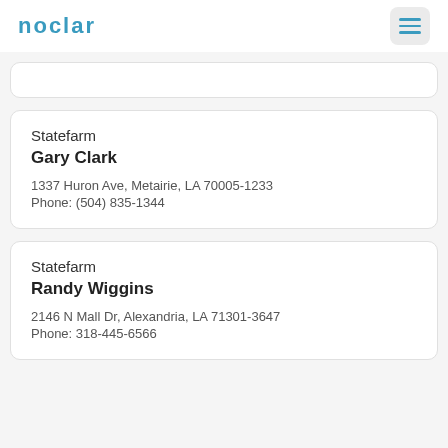NOCLAR
Statefarm
Gary Clark
1337 Huron Ave, Metairie, LA 70005-1233
Phone: (504) 835-1344
Statefarm
Randy Wiggins
2146 N Mall Dr, Alexandria, LA 71301-3647
Phone: 318-445-6566